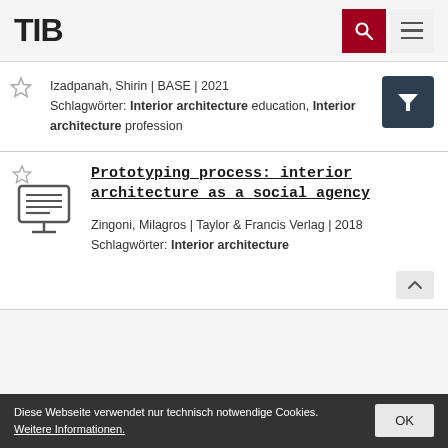TIB
Izadpanah, Shirin | BASE | 2021
Schlagwörter: Interior architecture education, Interior architecture profession
Prototyping process: interior architecture as a social agency
Zingoni, Milagros | Taylor & Francis Verlag | 2018
Schlagwörter: Interior architecture
Diese Webseite verwendet nur technisch notwendige Cookies.
Weitere Informationen.